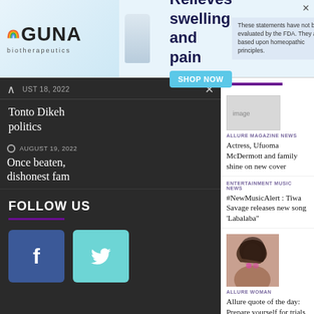[Figure (screenshot): GUNA biotherapeutics advertisement banner with rainbow logo, product bottle, 'Relieves swelling and pain' text, SHOP NOW button, and FDA disclaimer. Close button visible.]
AUGUST 18, 2022
Tonto Dikeh politics
AUGUST 19, 2022
Once beaten, dishonest fam
FOLLOW US
[Figure (logo): Facebook button - dark blue square with white 'f']
[Figure (logo): Twitter button - teal square with white bird icon]
ALLURE MAGAZINE NEWS
Actress, Ufuoma McDermott and family shine on new cover
ENTERTAINMENT MUSIC NEWS
#NewMusicAlert : Tiwa Savage releases new song 'Labalaba"
ALLURE WOMAN
Allure quote of the day: Prepare yourself for trials and challenges – Omo Butty